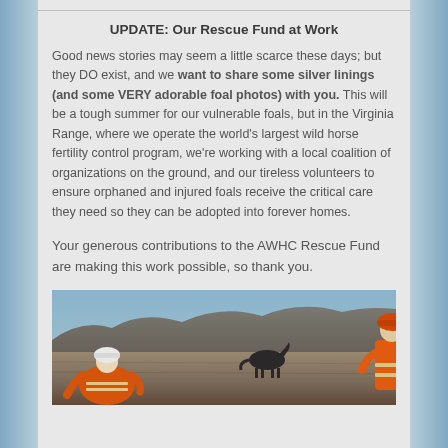UPDATE: Our Rescue Fund at Work
Good news stories may seem a little scarce these days; but they DO exist, and we want to share some silver linings (and some VERY adorable foal photos) with you. This will be a tough summer for our vulnerable foals, but in the Virginia Range, where we operate the world’s largest wild horse fertility control program, we’re working with a local coalition of organizations on the ground, and our tireless volunteers to ensure orphaned and injured foals receive the critical care they need so they can be adopted into forever homes.
Your generous contributions to the AWHC Rescue Fund are making this work possible, so thank you.
[Figure (photo): Outdoor photo showing two people wearing orange high-visibility vests and helmets working in a rocky, arid landscape. A dark horse is visible grazing in the background. The terrain appears to be a desert or dry rangeland with hills in the distance.]